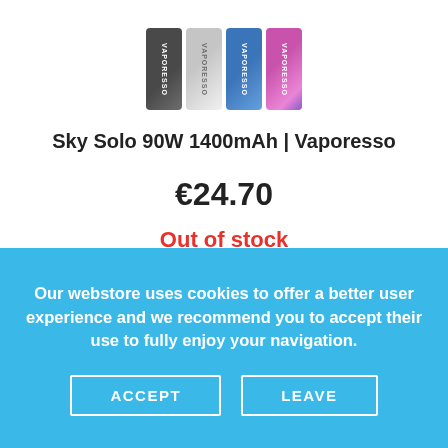[Figure (photo): Four Vaporesso Sky Solo 90W vape devices in different colors: black, silver, blue, and pink/purple gradient, shown from top angled view]
Sky Solo 90W 1400mAh | Vaporesso
€24.70
Out of stock
Our webstore uses cookies to offer a better user experience and we recommend you to accept their use to fully enjoy your navigation.
ACCEPT
LEAVE